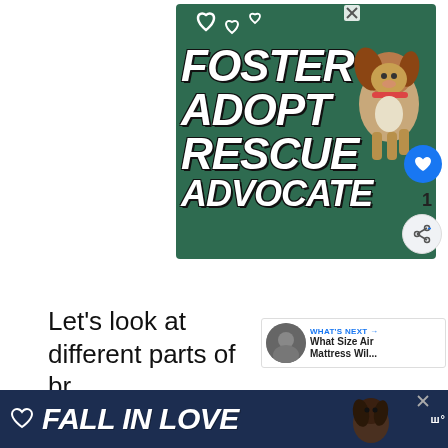[Figure (illustration): Advertisement banner with dark green background showing a beagle dog and text 'FOSTER ADOPT RESCUE ADVOCATE' in large bold white italic letters with heart outlines. Close (X) button in top right corner.]
[Figure (other): Blue circular like/heart button UI element with heart icon]
1
[Figure (other): Share button UI element (circular, light gray) with share/network icon]
[Figure (other): "What's Next" widget showing thumbnail image of person and text: 'What Size Air Mattress Wil...']
Let's look at different parts of br
see if deer can eat them.
[Figure (illustration): Bottom advertisement bar with dark navy background, heart icon, and large bold italic text 'FALL IN LOVE' with a dog image and music service logo on the right]